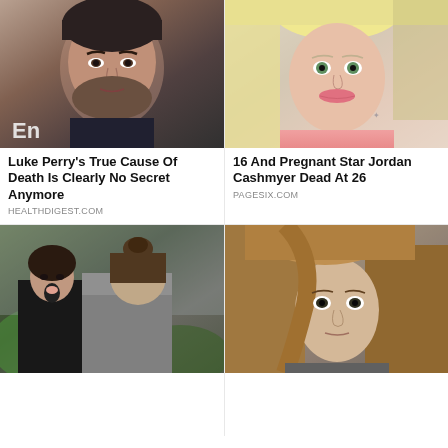[Figure (photo): Headshot of Luke Perry, middle-aged man with dark beard, at Entertainment Weekly event]
Luke Perry's True Cause Of Death Is Clearly No Secret Anymore
HEALTHDIGEST.COM
[Figure (photo): Selfie photo of Jordan Cashmyer, young blonde woman, pink top]
16 And Pregnant Star Jordan Cashmyer Dead At 26
PAGESIX.COM
[Figure (photo): Outdoor photo of couple arguing, woman in black jacket, man with bun hairstyle in grey jacket]
[Figure (photo): Portrait of young man with long brown hair, grey jacket]